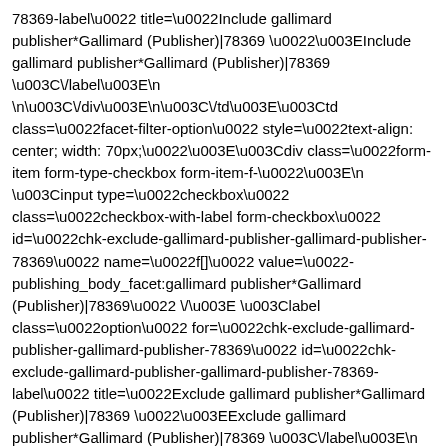78369-label\u0022 title=\u0022Include gallimard publisher*Gallimard (Publisher)|78369 \u0022\u003EInclude gallimard publisher*Gallimard (Publisher)|78369 \u003C\/label\u003E\n \n\u003C\/div\u003E\n\u003C\/td\u003E\u003Ctd class=\u0022facet-filter-option\u0022 style=\u0022text-align: center; width: 70px;\u0022\u003E\u003Cdiv class=\u0022form-item form-type-checkbox form-item-f-\u0022\u003E\n \u003Cinput type=\u0022checkbox\u0022 class=\u0022checkbox-with-label form-checkbox\u0022 id=\u0022chk-exclude-gallimard-publisher-gallimard-publisher-78369\u0022 name=\u0022f[]\u0022 value=\u0022-publishing_body_facet:gallimard publisher*Gallimard (Publisher)|78369\u0022 \/\u003E \u003Clabel class=\u0022option\u0022 for=\u0022chk-exclude-gallimard-publisher-gallimard-publisher-78369\u0022 id=\u0022chk-exclude-gallimard-publisher-gallimard-publisher-78369-label\u0022 title=\u0022Exclude gallimard publisher*Gallimard (Publisher)|78369 \u0022\u003EExclude gallimard publisher*Gallimard (Publisher)|78369 \u003C\/label\u003E\n \n\u003C\/div\u003E\n\u003C\/td\u003E\u003Ctd\u003EGallimard (Publisher) (10)\u003C\/td\u003E \u003C\/tr\u003E\n \u003Ctr class=\u0022odd\u0022\u003E\u003Ctd class=\u0022facet-filter-option\u0022 style=\u0022text-align: center; width: 70px;\u0022\u003E\u003Cdiv class=\u0022form-item form-type-checkbox form-item-f-0-\u0022\u003E\n \u003Cinput